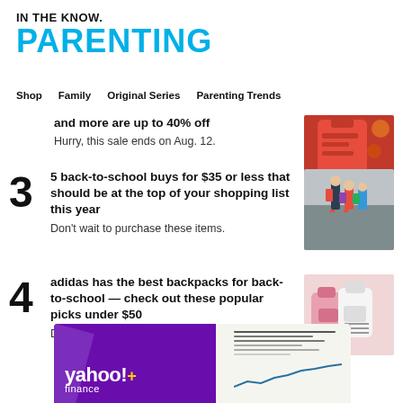IN THE KNOW.
PARENTING
Shop   Family   Original Series   Parenting Trends
and more are up to 40% off
Hurry, this sale ends on Aug. 12.
[Figure (photo): Orange/red backpack close-up photo]
3  5 back-to-school buys for $35 or less that should be at the top of your shopping list this year
Don't wait to purchase these items.
[Figure (photo): Children walking with backpacks seen from behind]
4  adidas has the best backpacks for back-to-school — check out these popular picks under $50
Don't wait to place your order.
[Figure (photo): Colorful backpacks hanging or arranged together]
[Figure (logo): Yahoo Finance Plus advertisement banner with purple background and logo]